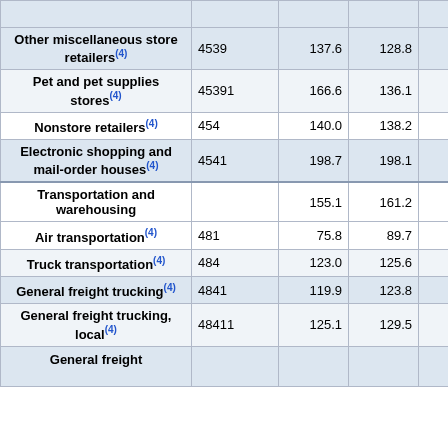| Industry | NAICS | Col1 | Col2 | Col3 |
| --- | --- | --- | --- | --- |
| Other miscellaneous store retailers(4) | 4539 | 137.6 | 128.8 | 127.1 |
| Pet and pet supplies stores(4) | 45391 | 166.6 | 136.1 | 133.4 |
| Nonstore retailers(4) | 454 | 140.0 | 138.2 | 139.6 |
| Electronic shopping and mail-order houses(4) | 4541 | 198.7 | 198.1 | 197.0 |
| Transportation and warehousing |  | 155.1 | 161.2 | 162.3 |
| Air transportation(4) | 481 | 75.8 | 89.7 | 90.3 |
| Truck transportation(4) | 484 | 123.0 | 125.6 | 125.4 |
| General freight trucking(4) | 4841 | 119.9 | 123.8 | 123.4 |
| General freight trucking, local(4) | 48411 | 125.1 | 129.5 | 127.3 |
| General freight trucking, long-distance(4) | 48412 | 116.8 | 120.1 | 120.8 |